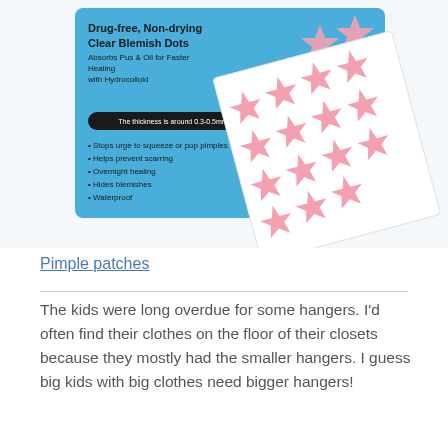[Figure (photo): Product photo showing a blue package labeled 'Drug-free, Non-drying Clear Blemish Dots, Absorbs Pus & Oil for Faster Healing with Hydrocolloid' alongside a white sheet of pink star-shaped pimple patches.]
Pimple patches
The kids were long overdue for some hangers. I'd often find their clothes on the floor of their closets because they mostly had the smaller hangers. I guess big kids with big clothes need bigger hangers!